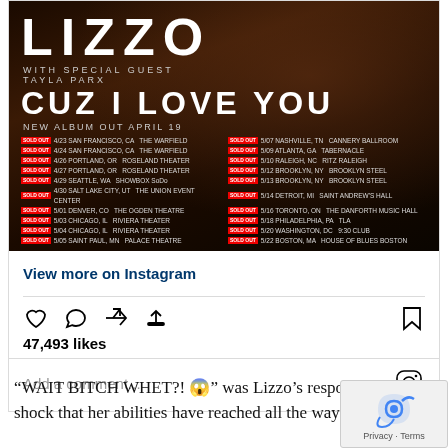[Figure (screenshot): Instagram post showing a Lizzo concert tour poster for 'Cuz I Love You' album with tour dates listed, followed by Instagram engagement UI showing 47,493 likes and comment field]
“WAIT BITCH WHET?! 😱” was Lizzo’s response. It’s no shock that her abilities have reached all the way in which to